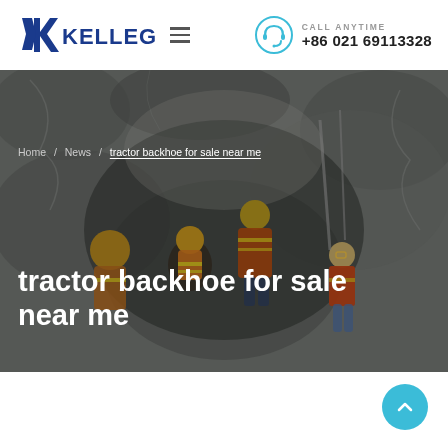[Figure (logo): KELLEG company logo with stylized K icon in blue and bold text KELLEG]
[Figure (infographic): Hamburger menu icon (three horizontal lines)]
[Figure (infographic): Headset/support icon in blue circle outline]
CALL ANYTIME
+86 021 69113328
[Figure (photo): Construction workers in hard hats and safety vests working in a rocky tunnel or excavation site]
Home / News / tractor backhoe for sale near me
tractor backhoe for sale near me
[Figure (infographic): Scroll to top button - light blue circle with upward chevron arrow]